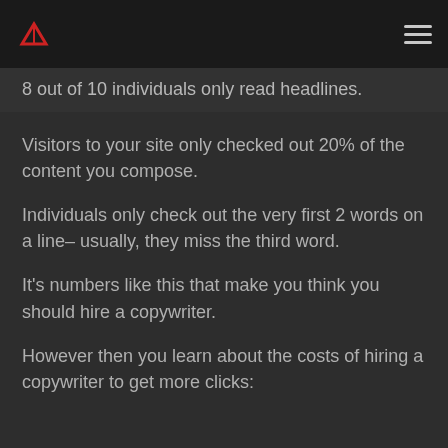[logo] [hamburger menu]
8 out of 10 individuals only read headlines.
Visitors to your site only checked out 20% of the content you compose.
Individuals only check out the very first 2 words on a line– usually, they miss the third word.
It's numbers like this that make you think you should hire a copywriter.
However then you learn about the costs of hiring a copywriter to get more clicks: